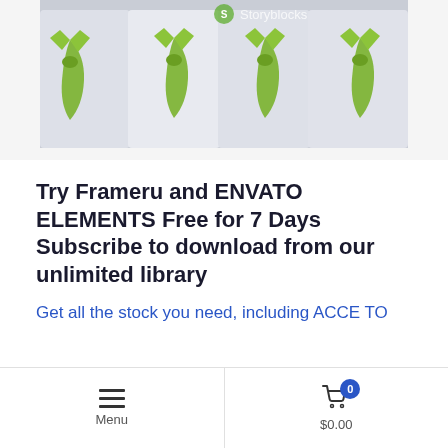[Figure (photo): Wedding chairs with white covers and green bow sashes tied at the back, shown from behind. Storyblocks watermark visible at top.]
Try Frameru and ENVATO ELEMENTS Free for 7 Days Subscribe to download from our unlimited library
Get all the stock you need, including ACCE TO
Menu   $0.00